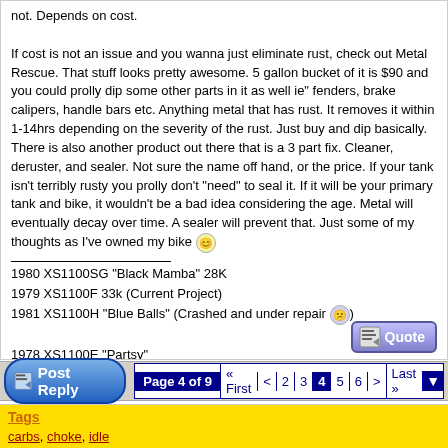not. Depends on cost.

If cost is not an issue and you wanna just eliminate rust, check out Metal Rescue. That stuff looks pretty awesome. 5 gallon bucket of it is $90 and you could prolly dip some other parts in it as well ie" fenders, brake calipers, handle bars etc. Anything metal that has rust. It removes it within 1-14hrs depending on the severity of the rust. Just buy and dip basically. There is also another product out there that is a 3 part fix. Cleaner, deruster, and sealer. Not sure the name off hand, or the price. If your tank isn't terribly rusty you prolly don't "need" to seal it. If it will be your primary tank and bike, it wouldn't be a bad idea considering the age. Metal will eventually decay over time. A sealer will prevent that. Just some of my thoughts as I've owned my bike [smiley]
1980 XS1100SG "Black Mamba" 28K
1979 XS1100F 33k (Current Project)
1981 XS1100H "Blue Balls" (Crashed and under repair [sad smiley])

1978 XS1100E "Partsy"

Work Hard, Play Harder!
Page 4 of 9  « First  <  2  3  4  5  6  >  Last »
Tags
carbs, choke, idle